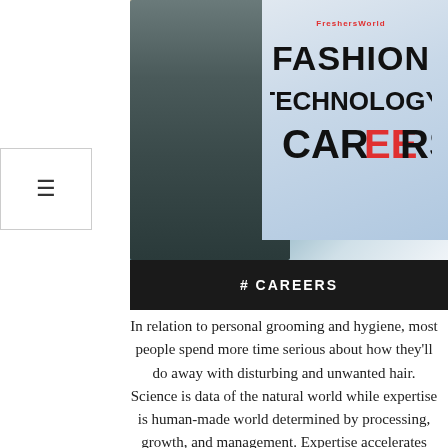[Figure (photo): Banner image showing a man in a dark shirt with a lanyard, with large bold text reading 'FASHION TECHNOLOGY CAREERS' and a '#CAREERS' tag on a dark strip at the bottom. Background has colorful gradient.]
In relation to personal grooming and hygiene, most people spend more time serious about how they'll do away with disturbing and unwanted hair. Science is data of the natural world while expertise is human-made world determined by processing, growth, and management. Expertise accelerates innovation: The only means small businesses can reach at present's competitive world is by utilizing expertise to create new products or services.
Small businesses can use internet expertise to